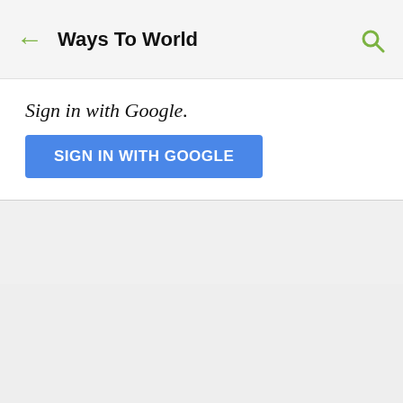← Ways To World 🔍
Sign in with Google.
[Figure (screenshot): Blue button labeled SIGN IN WITH GOOGLE]
SIGN IN WITH GOOGLE